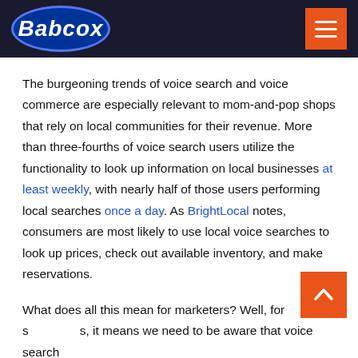Babcox
The burgeoning trends of voice search and voice commerce are especially relevant to mom-and-pop shops that rely on local communities for their revenue. More than three-fourths of voice search users utilize the functionality to look up information on local businesses at least weekly, with nearly half of those users performing local searches once a day. As BrightLocal notes, consumers are most likely to use local voice searches to look up prices, check out available inventory, and make reservations.
What does all this mean for marketers? Well, for s[tarts], it means we need to be aware that voice search